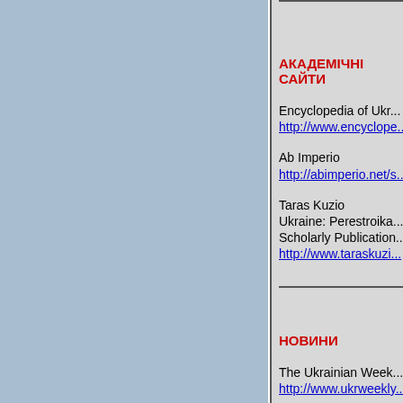АКАДЕМІЧНІ САЙТИ
Encyclopedia of Ukr...
http://www.encyclope...
Ab Imperio
http://abimperio.net/s...
Taras Kuzio
Ukraine: Perestroika...
Scholarly Publication...
http://www.taraskuzi...
НОВИНИ
The Ukrainian Week...
http://www.ukrweekly...